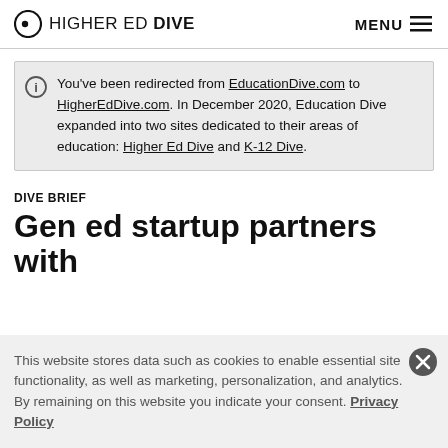HIGHER ED DIVE  MENU
You’ve been redirected from EducationDive.com to HigherEdDive.com. In December 2020, Education Dive expanded into two sites dedicated to their areas of education: Higher Ed Dive and K-12 Dive.
DIVE BRIEF
Gen ed startup partners with
This website stores data such as cookies to enable essential site functionality, as well as marketing, personalization, and analytics. By remaining on this website you indicate your consent. Privacy Policy